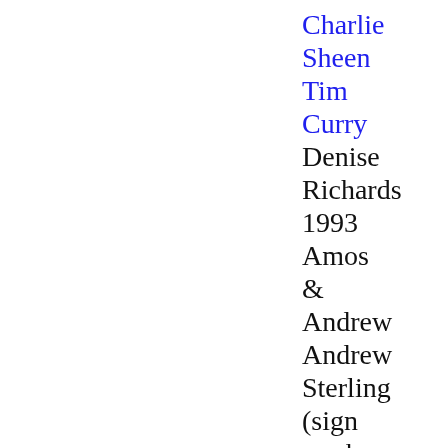Charlie
Sheen
Tim
Curry
Denise
Richards
1993
Amos
&
Andrew
Andrew
Sterling
(sign
mark
master)
Nicolas